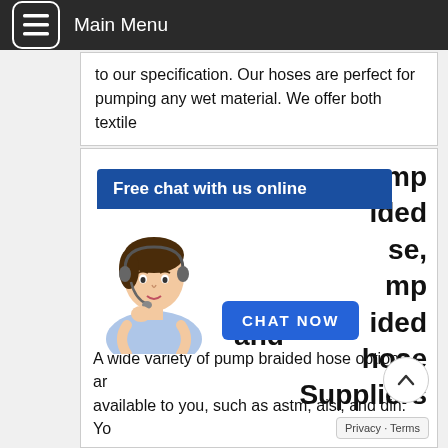Main Menu
to our specification. Our hoses are perfect for pumping any wet material. We offer both textile
[Figure (screenshot): Live chat widget with avatar of customer service representative wearing headset, blue header reading 'Free chat with us online', and a blue 'CHAT NOW' button]
pump ided se, mp ided hose Suppliers and
A wide variety of pump braided hose options are available to you, such as astm, aisi, and din. Yo